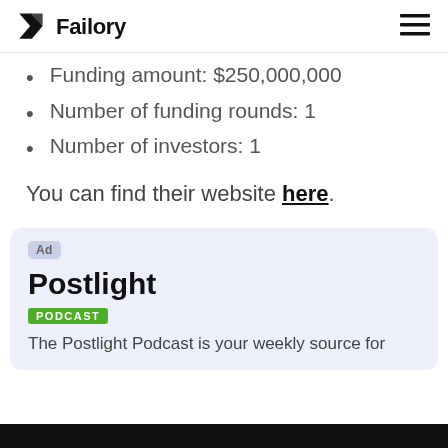Failory
Funding amount: $250,000,000
Number of funding rounds: 1
Number of investors: 1
You can find their website here.
[Figure (other): Advertisement card for Postlight Podcast with green PODCAST badge and description: The Postlight Podcast is your weekly source for tough leadership questions, and]